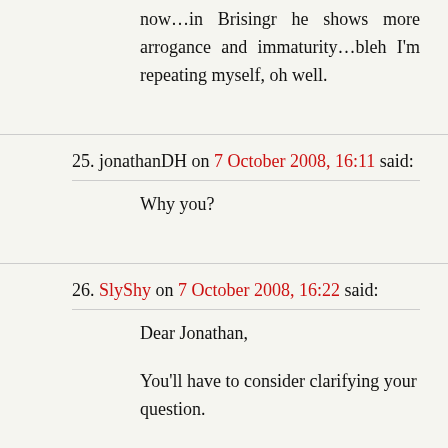now…in Brisingr he shows more arrogance and immaturity…bleh I'm repeating myself, oh well.
25. jonathanDH on 7 October 2008, 16:11 said:
Why you?
26. SlyShy on 7 October 2008, 16:22 said:
Dear Jonathan,
You'll have to consider clarifying your question.